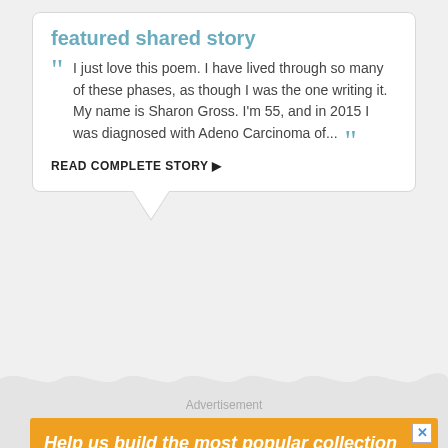featured shared story
I just love this poem. I have lived through so many of these phases, as though I was the one writing it. My name is Sharon Gross. I'm 55, and in 2015 I was diagnosed with Adeno Carcinoma of...
READ COMPLETE STORY ▶
Advertisement
[Figure (infographic): Orange advertisement banner with text 'Help us build the most popular collection of poems on the internet!' and subtext 'You Be The Editor', with Published: 352 and Pending: 450 buttons, and a pink bar at bottom.]